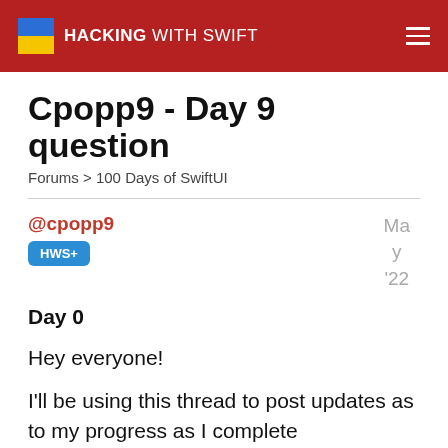HACKING WITH SWIFT
Cpopp9 - Day 9 question
Forums > 100 Days of SwiftUI
@cpopp9 HWS+ May '22
Day 0
Hey everyone!
I'll be using this thread to post updates as to my progress as I complete